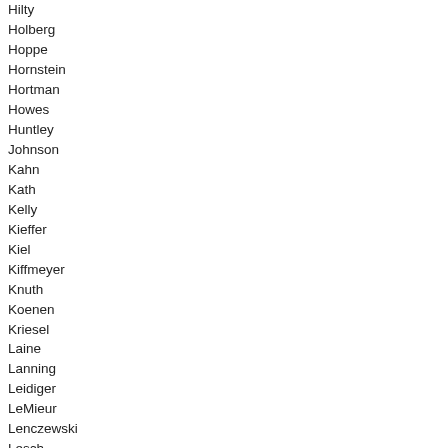Hilty
Holberg
Hoppe
Hornstein
Hortman
Howes
Huntley
Johnson
Kahn
Kath
Kelly
Kieffer
Kiel
Kiffmeyer
Knuth
Koenen
Kriesel
Laine
Lanning
Leidiger
LeMieur
Lenczewski
Lesch
Liebling
Lillie
Loeffler
Lohmer
Loon
Mack
Mahoney
Mariani
Marquart
Mazorol
McDonald
McElfatrick
McFarlane
McNamara
Melin
Moran
Morrow